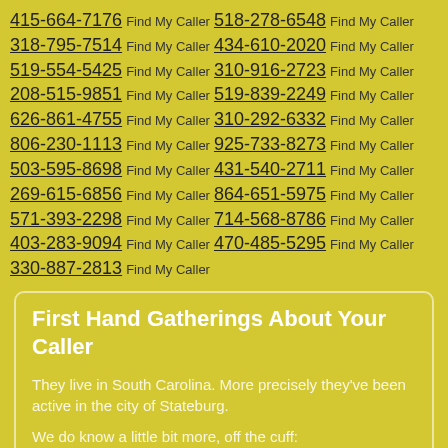415-664-7176 Find My Caller 518-278-6548 Find My Caller 318-795-7514 Find My Caller 434-610-2020 Find My Caller 519-554-5425 Find My Caller 310-916-2723 Find My Caller 208-515-9851 Find My Caller 519-839-2249 Find My Caller 626-861-4755 Find My Caller 310-292-6332 Find My Caller 806-230-1113 Find My Caller 925-733-8273 Find My Caller 503-595-8698 Find My Caller 431-540-2711 Find My Caller 269-615-6856 Find My Caller 864-651-5975 Find My Caller 571-393-2298 Find My Caller 714-568-8786 Find My Caller 403-283-9094 Find My Caller 470-485-5295 Find My Caller 330-887-2813 Find My Caller
First Hand Gatherings About Your Caller
They live in South Carolina. More precisely they've been active in the city of Stateburg.
We do know a little bit more, off the cuff: